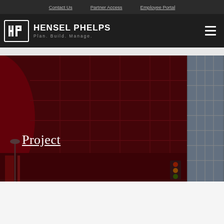Contact Us | Partner Access | Employee Portal
[Figure (logo): Hensel Phelps logo with HP mark in box and tagline Plan. Build. Manage.]
[Figure (photo): Hero image showing a building exterior with dark red/maroon overlay on the left portion and a glass building facade visible on the right. The word 'Project' appears in white underlined text overlaid on the dark red section.]
Project